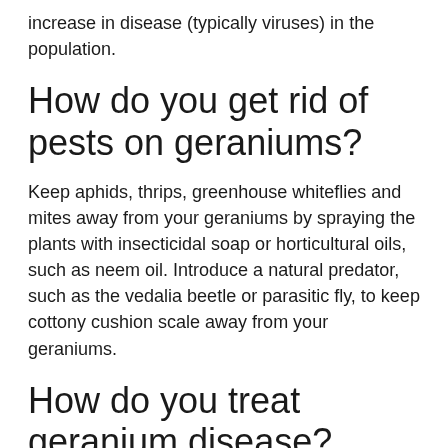increase in disease (typically viruses) in the population.
How do you get rid of pests on geraniums?
Keep aphids, thrips, greenhouse whiteflies and mites away from your geraniums by spraying the plants with insecticidal soap or horticultural oils, such as neem oil. Introduce a natural predator, such as the vedalia beetle or parasitic fly, to keep cottony cushion scale away from your geraniums.
How do you treat geranium disease?